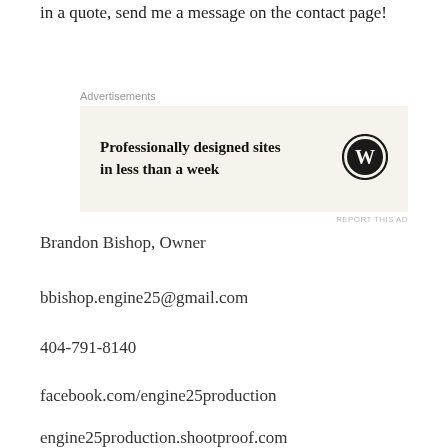in a quote, send me a message on the contact page!
[Figure (other): WordPress advertisement banner with text 'Professionally designed sites in less than a week' and WordPress logo]
Brandon Bishop, Owner
bbishop.engine25@gmail.com
404-791-8140
facebook.com/engine25production
engine25production.shootproof.com